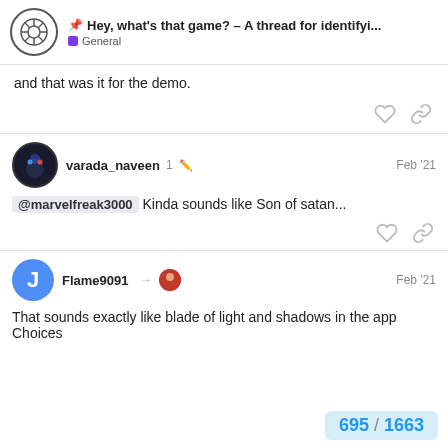Hey, what's that game? – A thread for identifyi... | General
and that was it for the demo.
varada_naveen   1  Feb '21
@marvelfreak3000 Kinda sounds like Son of satan...
Flame9091   Feb '21
That sounds exactly like blade of light and shadows in the app Choices
695 / 1663